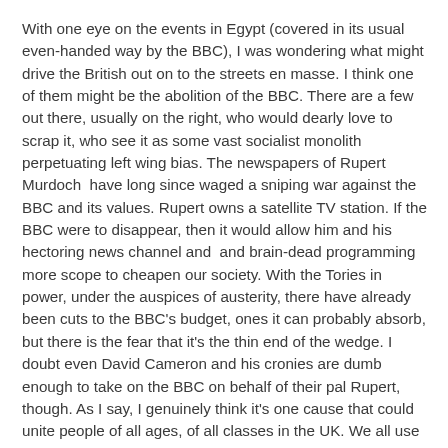With one eye on the events in Egypt (covered in its usual even-handed way by the BBC), I was wondering what might drive the British out on to the streets en masse. I think one of them might be the abolition of the BBC. There are a few out there, usually on the right, who would dearly love to scrap it, who see it as some vast socialist monolith perpetuating left wing bias. The newspapers of Rupert Murdoch  have long since waged a sniping war against the BBC and its values. Rupert owns a satellite TV station. If the BBC were to disappear, then it would allow him and his hectoring news channel and  and brain-dead programming more scope to cheapen our society. With the Tories in power, under the auspices of austerity, there have already been cuts to the BBC's budget, ones it can probably absorb, but there is the fear that it's the thin end of the wedge. I doubt even David Cameron and his cronies are dumb enough to take on the BBC on behalf of their pal Rupert, though. As I say, I genuinely think it's one cause that could unite people of all ages, of all classes in the UK. We all use the BBC and most of us love it.